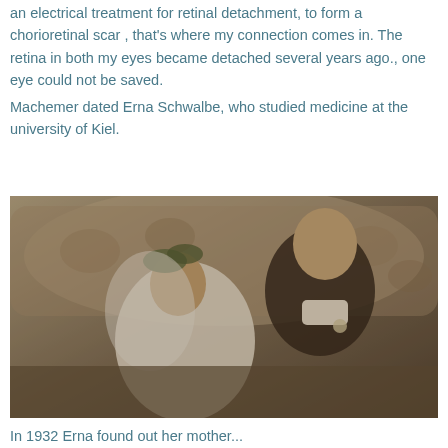an electrical treatment for retinal detachment, to form a chorioretinal scar , that's where my connection comes in. The retina in both my eyes became detached several years ago., one eye could not be saved.
Machemer dated Erna Schwalbe, who studied medicine at the university of Kiel.
[Figure (photo): Black and white vintage wedding photograph of a man in a tuxedo and a woman in a white wedding dress with a floral headpiece, seated together on an ornate sofa, looking at each other.]
In 1932 Erna found out her mother...
View original post 924 more words